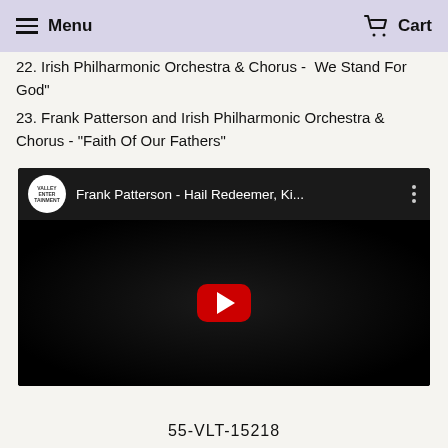Menu  Cart
22. Irish Philharmonic Orchestra & Chorus -  We Stand For God"
23. Frank Patterson and Irish Philharmonic Orchestra & Chorus - "Faith Of Our Fathers"
[Figure (screenshot): YouTube video embed showing 'Frank Patterson - Hail Redeemer, Ki...' with Valley Entertainment channel logo, dark thumbnail of man in tuxedo, red play button]
55-VLT-15218